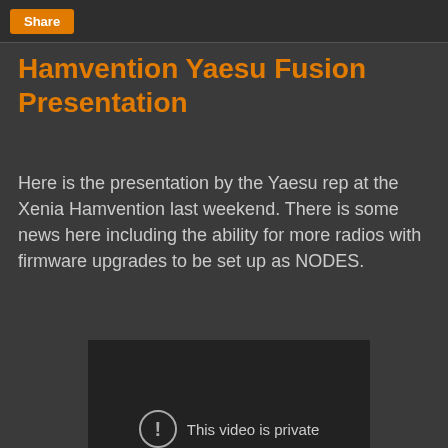Share
Hamvention Yaesu Fusion Presentation
Here is the presentation by the Yaesu rep at the Xenia Hamvention last weekend. There is some news here including the ability for more radios with firmware upgrades to be set up as NODES.
[Figure (screenshot): Embedded video player showing 'This video is private' message with an exclamation icon and a YouTube play button in the bottom right corner.]